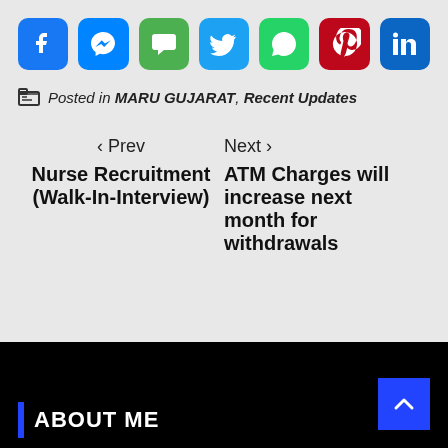[Figure (infographic): Row of 7 social sharing icon buttons: Facebook (blue), Messenger (blue), SMS (green), Twitter (blue), WhatsApp (green), Pinterest (red), LinkedIn (blue/dark)]
Posted in MARU GUJARAT, Recent Updates
< Prev
Nurse Recruitment (Walk-In-Interview)
Next >
ATM Charges will increase next month for withdrawals
ABOUT ME